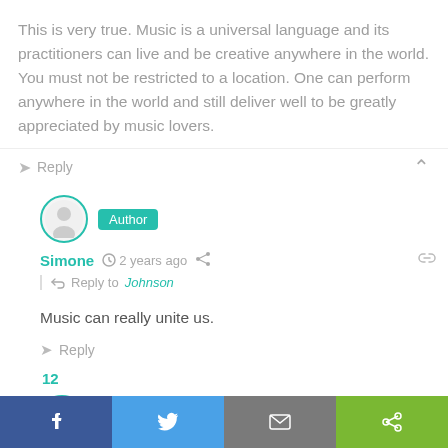This is very true. Music is a universal language and its practitioners can live and be creative anywhere in the world. You must not be restricted to a location. One can perform anywhere in the world and still deliver well to be greatly appreciated by music lovers.
Reply
Author
Simone  2 years ago
Reply to Johnson
Music can really unite us.
Reply
12